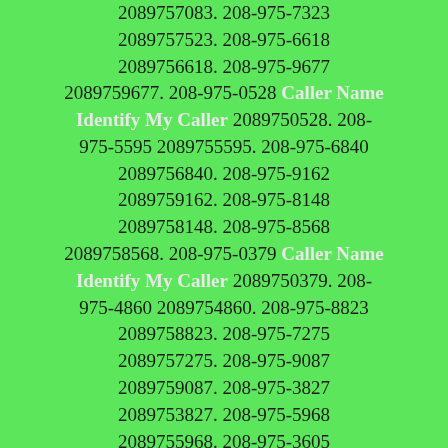2089757083. 208-975-7323 2089757523. 208-975-6618 2089756618. 208-975-9677 2089759677. 208-975-0528 Caller Name Identify My Caller 2089750528. 208-975-5595 2089755595. 208-975-6840 2089756840. 208-975-9162 2089759162. 208-975-8148 2089758148. 208-975-8568 2089758568. 208-975-0379 Caller Name Identify My Caller 2089750379. 208-975-4860 2089754860. 208-975-8823 2089758823. 208-975-7275 2089757275. 208-975-9087 2089759087. 208-975-3827 2089753827. 208-975-5968 2089755968. 208-975-3605 2089753605. 208-975-4489 2089754489. 208-975-7093 2089757093. 208-975-7066 2089757066. 208-975-8958 2089758958. 208-975-6984 2089756984. 208-975-8860 2089758860. 208-975-5808 2089755808. 208-975-9623 2089759623. 208-975-3824